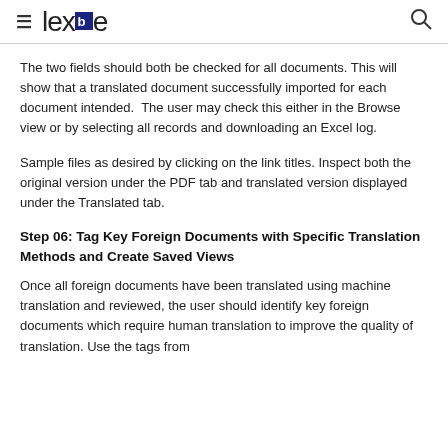≡ lexbe 🔍
The two fields should both be checked for all documents. This will show that a translated document successfully imported for each document intended.  The user may check this either in the Browse view or by selecting all records and downloading an Excel log.
Sample files as desired by clicking on the link titles. Inspect both the original version under the PDF tab and translated version displayed under the Translated tab.
Step 06: Tag Key Foreign Documents with Specific Translation Methods and Create Saved Views
Once all foreign documents have been translated using machine translation and reviewed, the user should identify key foreign documents which require human translation to improve the quality of translation. Use the tags from